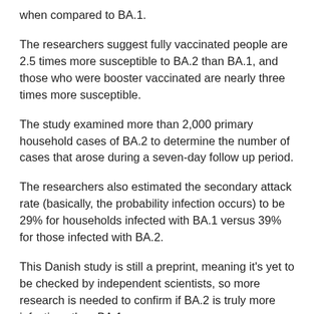when compared to BA.1.
The researchers suggest fully vaccinated people are 2.5 times more susceptible to BA.2 than BA.1, and those who were booster vaccinated are nearly three times more susceptible.
The study examined more than 2,000 primary household cases of BA.2 to determine the number of cases that arose during a seven-day follow up period.
The researchers also estimated the secondary attack rate (basically, the probability infection occurs) to be 29% for households infected with BA.1 versus 39% for those infected with BA.2.
This Danish study is still a preprint, meaning it's yet to be checked by independent scientists, so more research is needed to confirm if BA.2 is truly more infectious than BA.1.